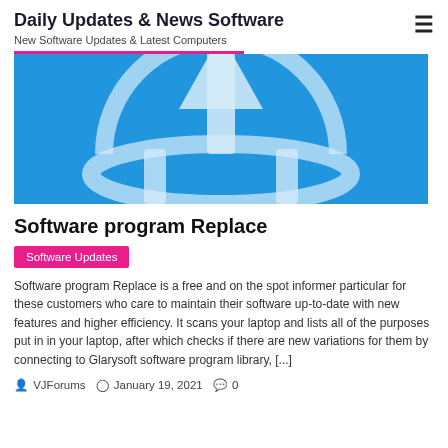Daily Updates & News Software
New Software Updates & Latest Computers
[Figure (illustration): Blue background with white upward arrow and shield/circle logo — software updater icon, close-up/cropped]
Software program Replace
Software Updates
Software program Replace is a free and on the spot informer particular for these customers who care to maintain their software up-to-date with new features and higher efficiency. It scans your laptop and lists all of the purposes put in in your laptop, after which checks if there are new variations for them by connecting to Glarysoft software program library, [...]
VJForums  January 19, 2021  0